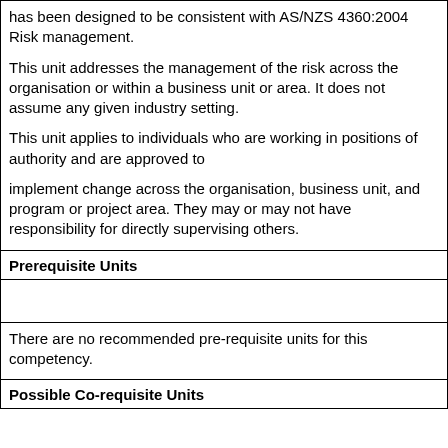has been designed to be consistent with AS/NZS 4360:2004 Risk management.
This unit addresses the management of the risk across the organisation or within a business unit or area. It does not assume any given industry setting.
This unit applies to individuals who are working in positions of authority and are approved to
implement change across the organisation, business unit, and program or project area. They may or may not have responsibility for directly supervising others.
Prerequisite Units
There are no recommended pre-requisite units for this competency.
Possible Co-requisite Units